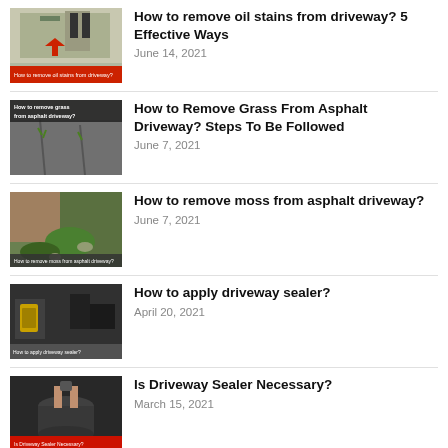[Figure (photo): Thumbnail for oil stains article showing person washing driveway with red arrow, caption text at bottom]
How to remove oil stains from driveway? 5 Effective Ways
June 14, 2021
[Figure (photo): Thumbnail showing grass growing through asphalt driveway cracks with text overlay]
How to Remove Grass From Asphalt Driveway? Steps To Be Followed
June 7, 2021
[Figure (photo): Thumbnail showing green moss on asphalt driveway with caption text at bottom]
How to remove moss from asphalt driveway?
June 7, 2021
[Figure (photo): Thumbnail showing person applying driveway sealer with caption text at bottom]
How to apply driveway sealer?
April 20, 2021
[Figure (photo): Thumbnail showing hands with driveway sealer can with red banner at bottom]
Is Driveway Sealer Necessary?
March 15, 2021